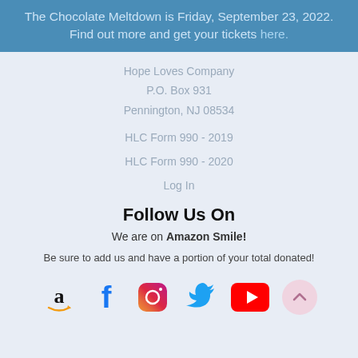The Chocolate Meltdown is Friday, September 23, 2022. Find out more and get your tickets here.
Hope Loves Company
P.O. Box 931
Pennington, NJ 08534
HLC Form 990 - 2019
HLC Form 990 - 2020
Log In
Follow Us On
We are on Amazon Smile!
Be sure to add us and have a portion of your total donated!
[Figure (other): Social media icons: Amazon, Facebook, Instagram, Twitter, YouTube, and a scroll-to-top button]